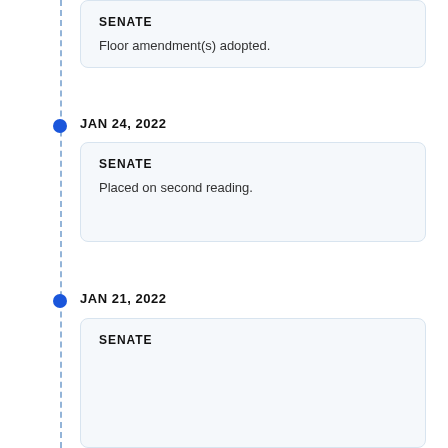SENATE
Floor amendment(s) adopted.
JAN 24, 2022
SENATE
Placed on second reading.
JAN 21, 2022
SENATE